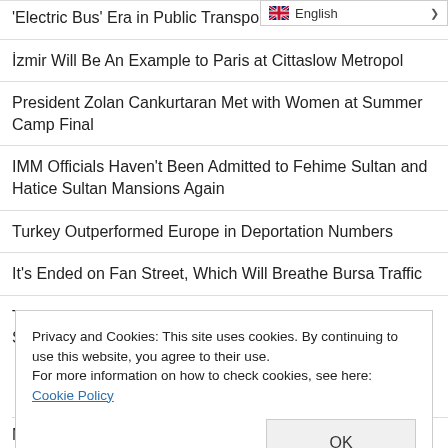[Figure (other): Language selector dropdown showing English with flag icon]
'Electric Bus' Era in Public Transportation in Samsun
İzmir Will Be An Example to Paris at Cittaslow Metropol
President Zolan Cankurtaran Met with Women at Summer Camp Final
IMM Officials Haven't Been Admitted to Fehime Sultan and Hatice Sultan Mansions Again
Turkey Outperformed Europe in Deportation Numbers
It's Ended on Fan Street, Which Will Breathe Bursa Traffic
Today in History: Nelson Mandela Elected President of South Africa
Privacy and Cookies: This site uses cookies. By continuing to use this website, you agree to their use.
For more information on how to check cookies, see here: Cookie Policy
Measures Taken in Public Transportation for Ankaragücü